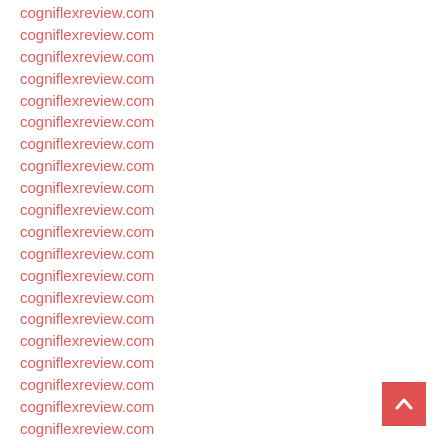cogniflexreview.com
cogniflexreview.com
cogniflexreview.com
cogniflexreview.com
cogniflexreview.com
cogniflexreview.com
cogniflexreview.com
cogniflexreview.com
cogniflexreview.com
cogniflexreview.com
cogniflexreview.com
cogniflexreview.com
cogniflexreview.com
cogniflexreview.com
cogniflexreview.com
cogniflexreview.com
cogniflexreview.com
cogniflexreview.com
cogniflexreview.com
cogniflexreview.com
[Figure (other): Back to top button — red square with white upward-pointing chevron arrow]